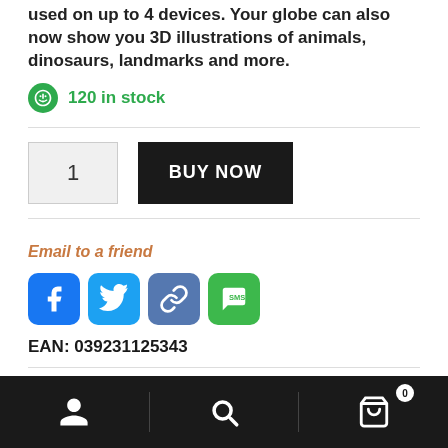used on up to 4 devices. Your globe can also now show you 3D illustrations of animals, dinosaurs, landmarks and more.
120 in stock
[Figure (screenshot): Quantity input box showing '1' and a black BUY NOW button]
Email to a friend
[Figure (infographic): Social media sharing buttons: Facebook (blue), Twitter (blue), Link (dark blue), SMS (green)]
EAN: 039231125343
SKU: 12534
Bottom navigation bar with user, search, and cart icons